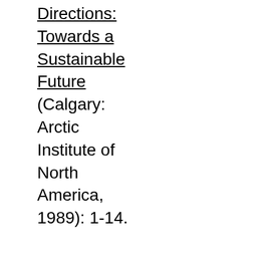Directions: Towards a Sustainable Future (Calgary: Arctic Institute of North America, 1989): 1-14.

“Transiency in the Far Northwest: The Sinking of the Princess Sophia,” in Ken Coates and W.R. Morrison, eds.,